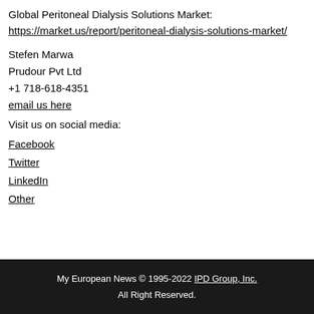Global Peritoneal Dialysis Solutions Market: https://market.us/report/peritoneal-dialysis-solutions-market/
Stefen Marwa
Prudour Pvt Ltd
+1 718-618-4351
email us here
Visit us on social media:
Facebook
Twitter
LinkedIn
Other
My European News © 1995-2022 IPD Group, Inc. All Right Reserved.